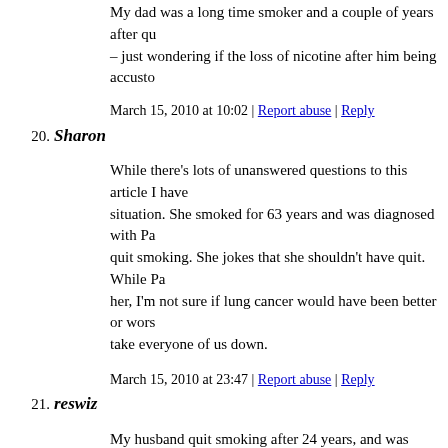My dad was a long time smoker and a couple of years after qu– just wondering if the loss of nicotine after him being accusto
March 15, 2010 at 10:02 | Report abuse | Reply
20. Sharon
While there's lots of unanswered questions to this article I have situation. She smoked for 63 years and was diagnosed with Pa quit smoking. She jokes that she shouldn't have quit. While Pa her, I'm not sure if lung cancer would have been better or wors take everyone of us down.
March 15, 2010 at 23:47 | Report abuse | Reply
21. reswiz
My husband quit smoking after 24 years, and was diagnosed w He comes from a family of addicts, so it isn't the addictive beh since PD can be caused by many different things, who knows? PD can occur whether you smoke or not. And the disease is mu patients than the elderly.
March 17, 2010 at 09:45 | Report abuse | Reply
22. Sean
I have been a smoker of over 25 years, and have never tried to found that something about the smoking helped me to feel me